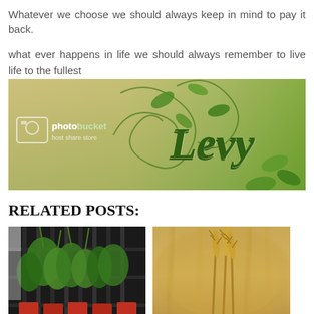Whatever we choose we should always keep in mind to pay it back.
what ever happens in life we should always remember to live life to the fullest
[Figure (photo): Photobucket banner image with decorative green swirls and the word 'Levy' in stylized script]
RELATED POSTS:
[Figure (photo): Photo of green plants behind metal bars/grating with red pots]
[Figure (photo): Close-up photo of golden wheat or grain stalks with blurred background]